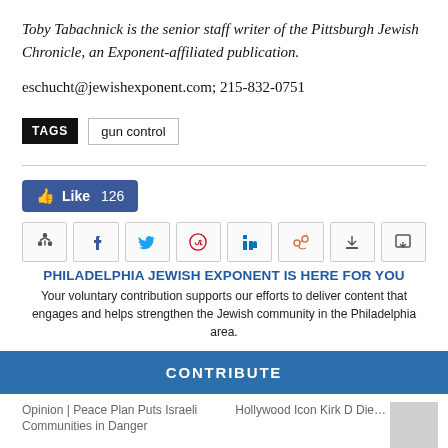Toby Tabachnick is the senior staff writer of the Pittsburgh Jewish Chronicle, an Exponent-affiliated publication.
eschucht@jewishexponent.com; 215-832-0751
TAGS   gun control
[Figure (screenshot): Facebook Like button showing 126 likes, followed by social sharing icons (share, Facebook, Twitter, Pinterest, LinkedIn, add user, Tumblr, download/print)]
PHILADELPHIA JEWISH EXPONENT IS HERE FOR YOU
Your voluntary contribution supports our efforts to deliver content that engages and helps strengthen the Jewish community in the Philadelphia area.
CONTRIBUTE
Opinion | Peace Plan Puts Israeli Communities in Danger
Hollywood Icon Kirk D Die…